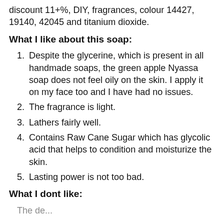discount 11+%, DIY, fragrances, colour 14427, 19140, 42045 and titanium dioxide.
What I like about this soap:
Despite the glycerine, which is present in all handmade soaps, the green apple Nyassa soap does not feel oily on the skin. I apply it on my face too and I have had no issues.
The fragrance is light.
Lathers fairly well.
Contains Raw Cane Sugar which has glycolic acid that helps to condition and moisturize the skin.
Lasting power is not too bad.
What I dont like:
The de...